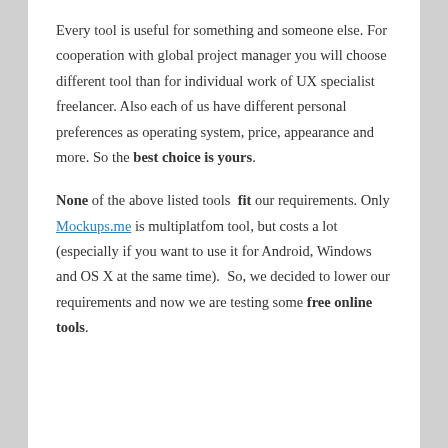Every tool is useful for something and someone else. For cooperation with global project manager you will choose different tool than for individual work of UX specialist freelancer. Also each of us have different personal preferences as operating system, price, appearance and more. So the best choice is yours.
None of the above listed tools fit our requirements. Only Mockups.me is multiplatfom tool, but costs a lot (especially if you want to use it for Android, Windows and OS X at the same time). So, we decided to lower our requirements and now we are testing some free online tools.